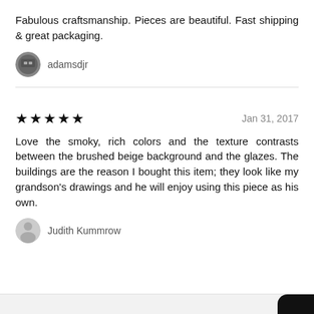Fabulous craftsmanship. Pieces are beautiful. Fast shipping & great packaging.
adamsdjr
★★★★★   Jan 31, 2017
Love the smoky, rich colors and the texture contrasts between the brushed beige background and the glazes. The buildings are the reason I bought this item; they look like my grandson's drawings and he will enjoy using this piece as his own.
Judith Kummrow